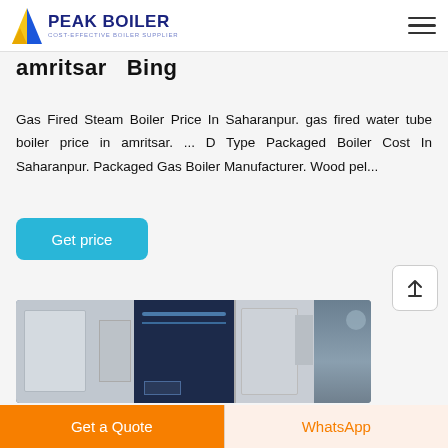PEAK BOILER - COST-EFFECTIVE BOILER SUPPLIER
amritsar Bing
Gas Fired Steam Boiler Price In Saharanpur. gas fired water tube boiler price in amritsar. ... D Type Packaged Boiler Cost In Saharanpur. Packaged Gas Boiler Manufacturer. Wood pel...
Get price
[Figure (photo): Industrial boilers (Fangkuai brand) in a factory/warehouse setting — multiple large dark blue and grey boiler units side by side]
Get a Quote
WhatsApp